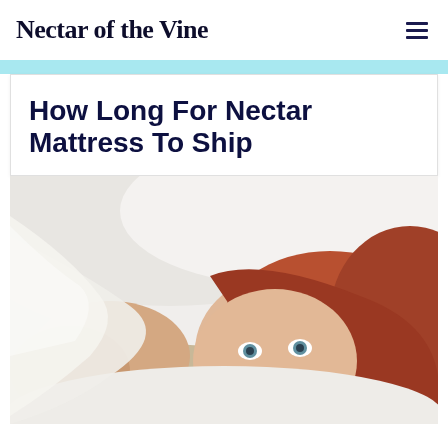Nectar of the Vine
How Long For Nectar Mattress To Ship
[Figure (photo): A young red-haired child lying on a pillow, partially covered by a white blanket/duvet, looking at the camera with a slight smile. The scene suggests a cozy bed setting.]